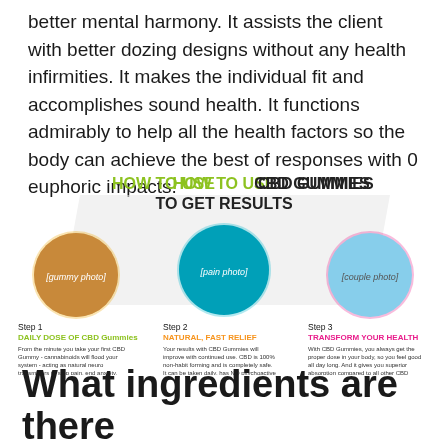better mental harmony. It assists the client with better dozing designs without any health infirmities. It makes the individual fit and accomplishes sound health. It functions admirably to help all the health factors so the body can achieve the best of responses with 0 euphoric impacts.
[Figure (infographic): HOW TO USE CBD GUMMIES TO GET RESULTS infographic with three steps: Step 1 DAILY DOSE OF CBD Gummies, Step 2 NATURAL, FAST RELIEF, Step 3 TRANSFORM YOUR HEALTH, each with a circular photo and description text.]
What ingredients are there